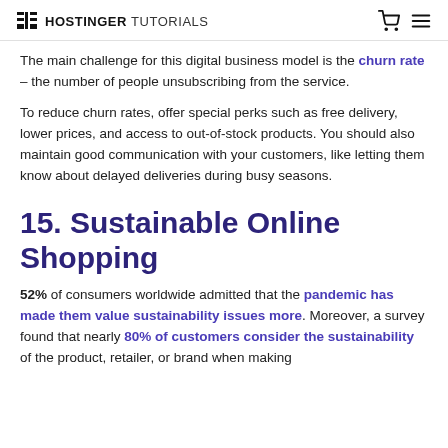HOSTINGER TUTORIALS
The main challenge for this digital business model is the churn rate – the number of people unsubscribing from the service.
To reduce churn rates, offer special perks such as free delivery, lower prices, and access to out-of-stock products. You should also maintain good communication with your customers, like letting them know about delayed deliveries during busy seasons.
15. Sustainable Online Shopping
52% of consumers worldwide admitted that the pandemic has made them value sustainability issues more. Moreover, a survey found that nearly 80% of customers consider the sustainability of the product, retailer, or brand when making